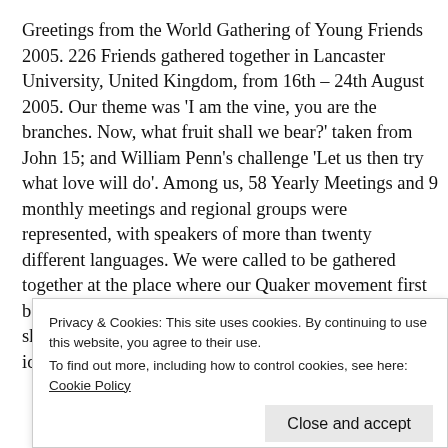Greetings from the World Gathering of Young Friends 2005. 226 Friends gathered together in Lancaster University, United Kingdom, from 16th – 24th August 2005. Our theme was 'I am the vine, you are the branches. Now, what fruit shall we bear?' taken from John 15; and William Penn's challenge 'Let us then try what love will do'. Among us, 58 Yearly Meetings and 9 monthly meetings and regional groups were represented, with speakers of more than twenty different languages. We were called to be gathered together at the place where our Quaker movement first bore fruit, the heart of 1652 country. We returned to our shared roots, to the birthplace of our collective spiritual identities. Through climbing Pendle Hill as a
Privacy & Cookies: This site uses cookies. By continuing to use this website, you agree to their use. To find out more, including how to control cookies, see here: Cookie Policy
Close and accept